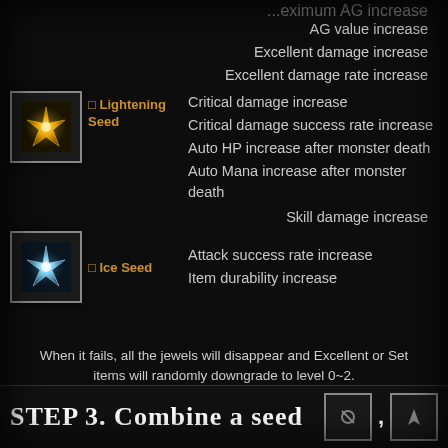...maximum AG increase
AG value increase
Excellent damage increase
Excellent damage rate increase
Critical damage increase
Critical damage success rate increase
Auto HP increase after monster death
Auto Mana increase after monster death
[Figure (illustration): Lightening Seed item icon — a golden star-shaped gem on dark background]
⬜ Lightening Seed
Skill damage increase
[Figure (illustration): Ice Seed item icon — a blue/white crystal star-shaped gem on dark background]
⬜ Ice Seed
Attack success rate increase
Item durability increase
When it fails, all the jewels will disappear and Excellent or Set items will randomly downgrade to level 0~2.
STEP 3. Combine a seed